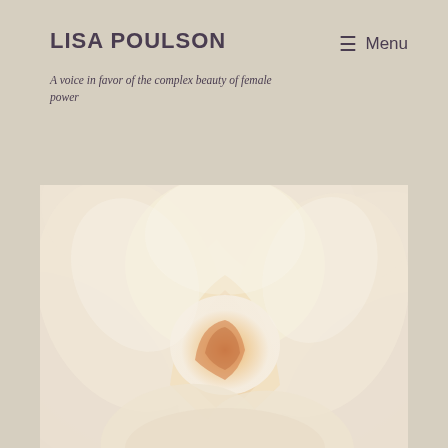LISA POULSON
A voice in favor of the complex beauty of female power
≡ Menu
[Figure (photo): Close-up photograph of a white/cream rose with soft peach tones at the center, showing intricate layered petals in a macro shot]